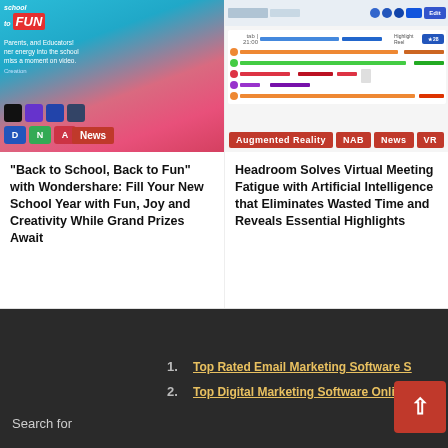[Figure (screenshot): Back to School Back to Fun promotional image with Wondershare app icons and young women in pink clothing]
News
“Back to School, Back to Fun” with Wondershare: Fill Your New School Year with Fun, Joy and Creativity While Grand Prizes Await
[Figure (screenshot): Headroom virtual meeting interface screenshot showing timeline and highlight reel with colored bars]
Augmented Reality
NAB
News
VR
Headroom Solves Virtual Meeting Fatigue with Artificial Intelligence that Eliminates Wasted Time and Reveals Essential Highlights
Search for
1. Top Rated Email Marketing Software S
2. Top Digital Marketing Software Online